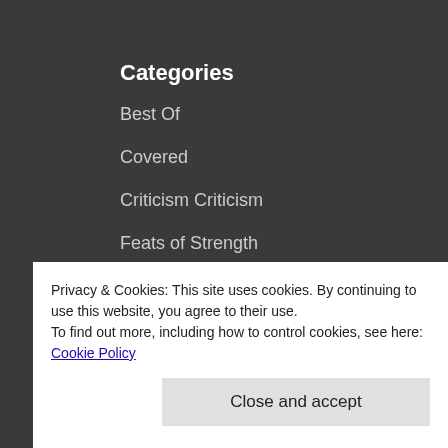Categories
Best Of
Covered
Criticism Criticism
Feats of Strength
I Saw Them Live!
Live Shit
New Shit
Privacy & Cookies: This site uses cookies. By continuing to use this website, you agree to their use.
To find out more, including how to control cookies, see here: Cookie Policy
Close and accept